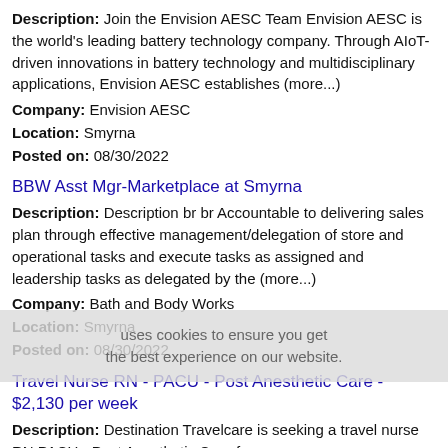Description: Join the Envision AESC Team Envision AESC is the world's leading battery technology company. Through AIoT-driven innovations in battery technology and multidisciplinary applications, Envision AESC establishes (more...)
Company: Envision AESC
Location: Smyrna
Posted on: 08/30/2022
BBW Asst Mgr-Marketplace at Smyrna
Description: Description br br Accountable to delivering sales plan through effective management/delegation of store and operational tasks and execute tasks as assigned and leadership tasks as delegated by the (more...)
Company: Bath and Body Works
Location: Smyrna
Posted on: 08/30/2022
Travel Nurse RN - PACU - Post Anesthetic Care - $2,130 per week
Description: Destination Travelcare is seeking a travel nurse RN PACU - Post Anesthetic Care for
Company: Destination Travelcare
Location: Smyrna
Posted on: 08/30/2022